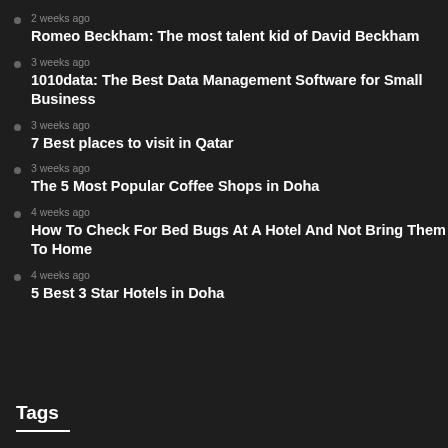2 weeks ago
Romeo Beckham: The most talent kid of David Beckham
3 weeks ago
1010data: The Best Data Management Software for Small Business
3 weeks ago
7 Best places to visit in Qatar
3 weeks ago
The 5 Most Popular Coffee Shops in Doha
4 weeks ago
How To Check For Bed Bugs At A Hotel And Not Bring Them To Home
4 weeks ago
5 Best 3 Star Hotels in Doha
Tags